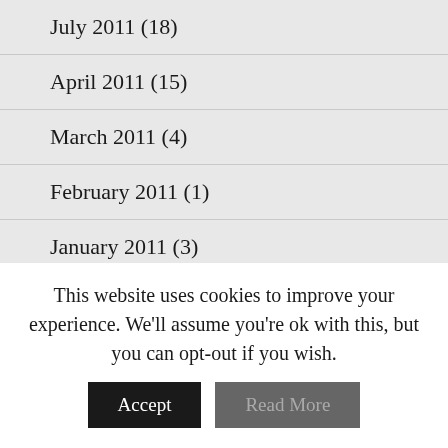July 2011 (18)
April 2011 (15)
March 2011 (4)
February 2011 (1)
January 2011 (3)
December 2010 (3)
November 2010 (4)
October 2010 (2)
September 2010 (13)
This website uses cookies to improve your experience. We'll assume you're ok with this, but you can opt-out if you wish.